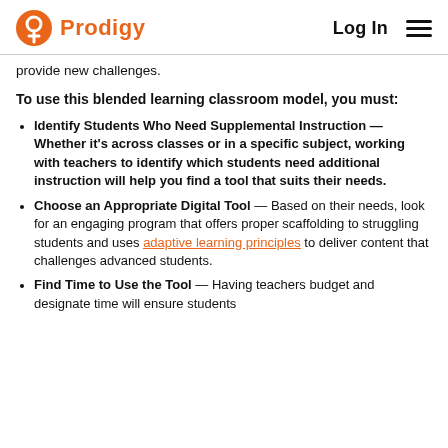Prodigy | Log In
provide new challenges.
To use this blended learning classroom model, you must:
Identify Students Who Need Supplemental Instruction — Whether it's across classes or in a specific subject, working with teachers to identify which students need additional instruction will help you find a tool that suits their needs.
Choose an Appropriate Digital Tool — Based on their needs, look for an engaging program that offers proper scaffolding to struggling students and uses adaptive learning principles to deliver content that challenges advanced students.
Find Time to Use the Tool — Having teachers budget and designate time will ensure students